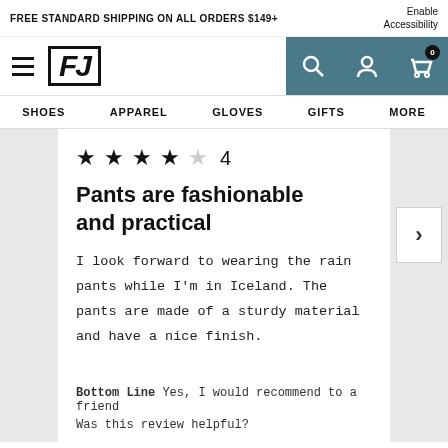FREE STANDARD SHIPPING ON ALL ORDERS $149+
Enable Accessibility
[Figure (logo): FootJoy FJ logo with hamburger menu, search, account, and cart icons]
SHOES  APPAREL  GLOVES  GIFTS  MORE
★★★★☆ 4
Pants are fashionable and practical
I look forward to wearing the rain pants while I'm in Iceland. The pants are made of a sturdy material and have a nice finish.
Bottom Line Yes, I would recommend to a friend
Was this review helpful?